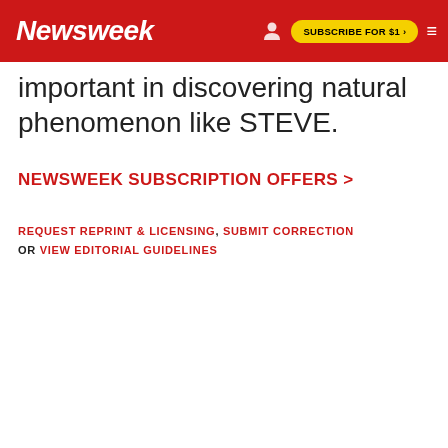Newsweek | SUBSCRIBE FOR $1 >
important in discovering natural phenomenon like STEVE.
NEWSWEEK SUBSCRIPTION OFFERS >
REQUEST REPRINT & LICENSING, SUBMIT CORRECTION OR VIEW EDITORIAL GUIDELINES